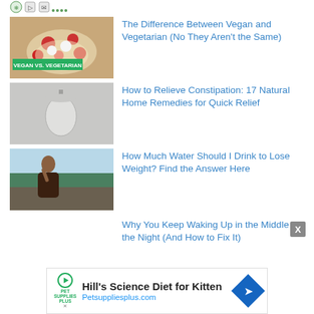[Figure (illustration): Website header with small icons/logos at top]
[Figure (photo): Bowl of colorful vegan/vegetarian food with label overlay reading VEGAN VS. VEGETARIAN]
The Difference Between Vegan and Vegetarian (No They Aren't the Same)
[Figure (photo): Toilet paper roll hanging on a wall]
How to Relieve Constipation: 17 Natural Home Remedies for Quick Relief
[Figure (photo): Woman drinking water near the ocean]
How Much Water Should I Drink to Lose Weight? Find the Answer Here
Why You Keep Waking Up in the Middle of the Night (And How to Fix It)
[Figure (infographic): Advertisement banner for Hill's Science Diet for Kitten at Petsuppliesplus.com]